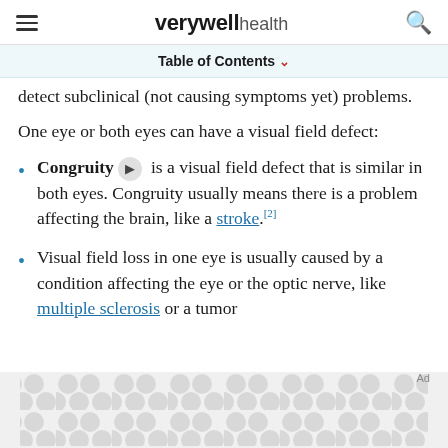verywell health
Table of Contents
detect subclinical (not causing symptoms yet) problems.
One eye or both eyes can have a visual field defect:
Congruity [audio] is a visual field defect that is similar in both eyes. Congruity usually means there is a problem affecting the brain, like a stroke.[2]
Visual field loss in one eye is usually caused by a condition affecting the eye or the optic nerve, like multiple sclerosis or a tumor
[Figure (other): Advertisement banner with pattern]